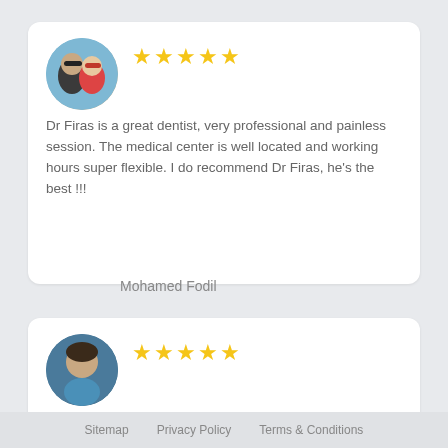[Figure (photo): Circular avatar photo of a couple (man with sunglasses and woman with red sunglasses)]
Dr Firas is a great dentist, very professional and painless session. The medical center is well located and working hours super flexible. I do recommend Dr Firas, he's the best !!!
Mohamed Fodil
[Figure (photo): Circular avatar photo of a young child viewed from above]
Dr Alkoury is great at what he does. He removed my sisters wisdom teeth a few years ago in Canada and did an awesome job! She gets scared when its time to see a dentist,
Sitemap    Privacy Policy    Terms & Conditions